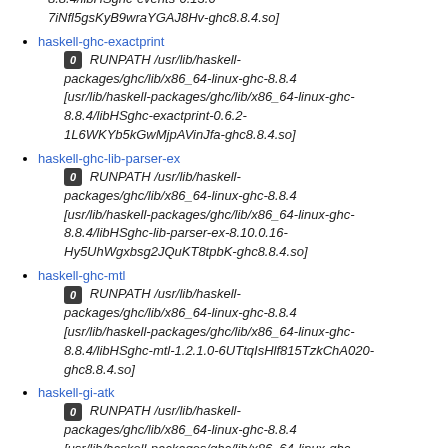8.8.4/libHSghc-events-0.13.0-7iNfl5gsKyB9wraYGAJ8Hv-ghc8.8.4.so]
haskell-ghc-exactprint
0 RUNPATH /usr/lib/haskell-packages/ghc/lib/x86_64-linux-ghc-8.8.4 [usr/lib/haskell-packages/ghc/lib/x86_64-linux-ghc-8.8.4/libHSghc-exactprint-0.6.2-1L6WKYb5kGwMjpAVinJfa-ghc8.8.4.so]
haskell-ghc-lib-parser-ex
0 RUNPATH /usr/lib/haskell-packages/ghc/lib/x86_64-linux-ghc-8.8.4 [usr/lib/haskell-packages/ghc/lib/x86_64-linux-ghc-8.8.4/libHSghc-lib-parser-ex-8.10.0.16-Hy5UhWgxbsg2JQuKT8tpbK-ghc8.8.4.so]
haskell-ghc-mtl
0 RUNPATH /usr/lib/haskell-packages/ghc/lib/x86_64-linux-ghc-8.8.4 [usr/lib/haskell-packages/ghc/lib/x86_64-linux-ghc-8.8.4/libHSghc-mtl-1.2.1.0-6UTtqIsHlf815TzkChA020-ghc8.8.4.so]
haskell-gi-atk
0 RUNPATH /usr/lib/haskell-packages/ghc/lib/x86_64-linux-ghc-8.8.4 [usr/lib/haskell-packages/ghc/lib/x86_64-linux-ghc-8.8.4/libHSgi-atk-2.0.22-IGnFduUjtyKAeYgQAXArfO-ghc8.8.4.so]